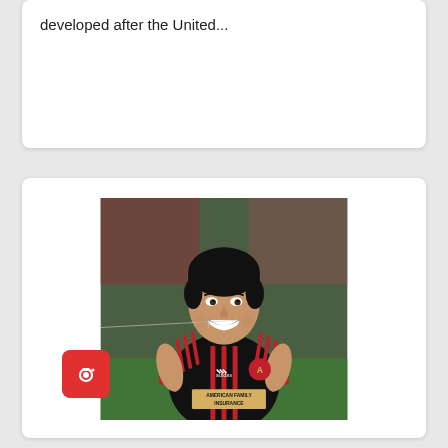developed after the United...
[Figure (photo): A young male soccer player smiling, wearing a black Atlanta United FC jersey with red stripes, Adidas logo, Atlanta United crest, and American Family Insurance sponsor text. A red camera icon badge is visible in the lower left corner of the photo.]